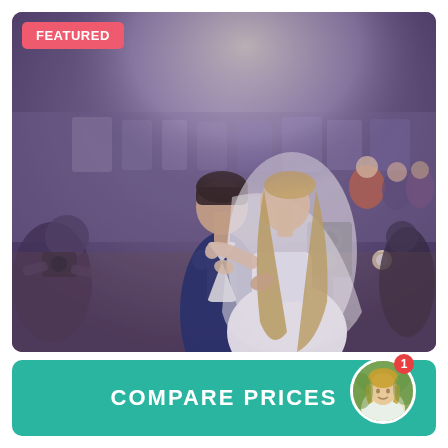[Figure (photo): Wedding couple dancing their first dance at a wedding reception. Groom in dark navy suit, bride in white dress with veil. Stage lighting and DJ speaker visible in background. Guests watching in background. A photographer is visible in the left foreground.]
FEATURED
COMPARE PRICES